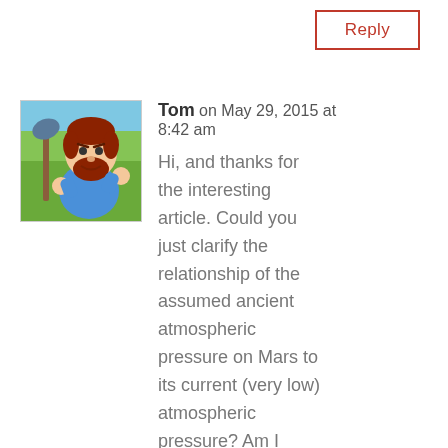Reply
[Figure (illustration): Cartoon avatar of a red-bearded man holding a shovel, wearing a blue shirt, standing in front of green grass background.]
Tom on May 29, 2015 at 8:42 am
Hi, and thanks for the interesting article. Could you just clarify the relationship of the assumed ancient atmospheric pressure on Mars to its current (very low) atmospheric pressure? Am I